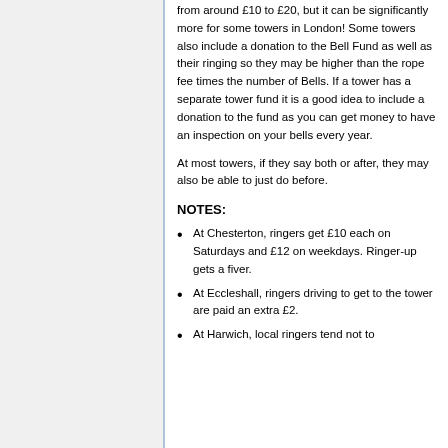from around £10 to £20, but it can be significantly more for some towers in London! Some towers also include a donation to the Bell Fund as well as their ringing so they may be higher than the rope fee times the number of Bells. If a tower has a separate tower fund it is a good idea to include a donation to the fund as you can get money to have an inspection on your bells every year.
At most towers, if they say both or after, they may also be able to just do before.
NOTES:
At Chesterton, ringers get £10 each on Saturdays and £12 on weekdays. Ringer-up gets a fiver.
At Eccleshall, ringers driving to get to the tower are paid an extra £2.
At Harwich, local ringers tend not to